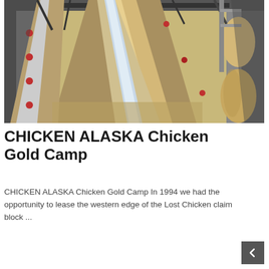[Figure (photo): Industrial gold mining equipment — conveyor belt and sluice machinery at Chicken Gold Camp, Alaska. Overhead view showing metal framework, conveyor belts, sand/gravel material, and cylindrical drums.]
CHICKEN ALASKA Chicken Gold Camp
CHICKEN ALASKA Chicken Gold Camp In 1994 we had the opportunity to lease the western edge of the Lost Chicken claim block ...